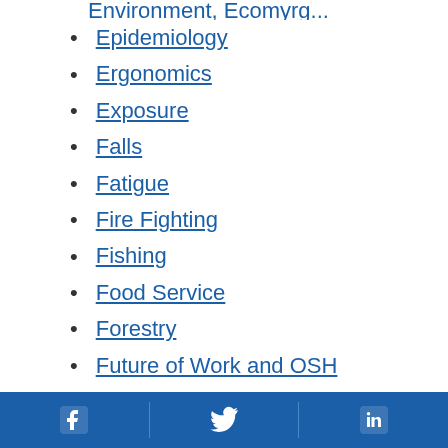Epidemiology
Ergonomics
Exposure
Falls
Fatigue
Fire Fighting
Fishing
Food Service
Forestry
Future of Work and OSH
Healthcare
Healthy Work Design
Facebook | Twitter | LinkedIn